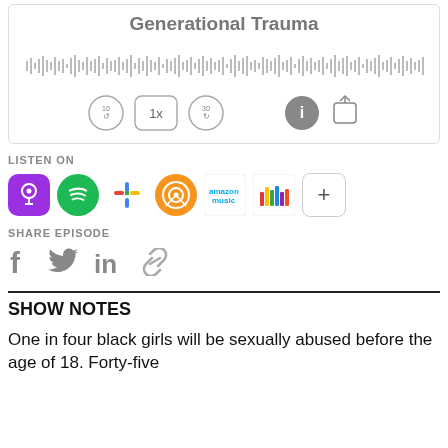Generational Trauma
[Figure (screenshot): Audio waveform player showing a podcast episode titled 'Generational Trauma' with playback controls: rewind 10s, speed 1x, forward 30s, info, and share buttons]
LISTEN ON
[Figure (infographic): Row of podcast platform icons: Apple Podcasts, Spotify, Google Podcasts, Overcast, Amazon Music, iHeart Radio, and a plus button]
SHARE EPISODE
[Figure (infographic): Social share icons: Facebook, Twitter, LinkedIn, and a link/copy icon]
SHOW NOTES
One in four black girls will be sexually abused before the age of 18. Forty-five